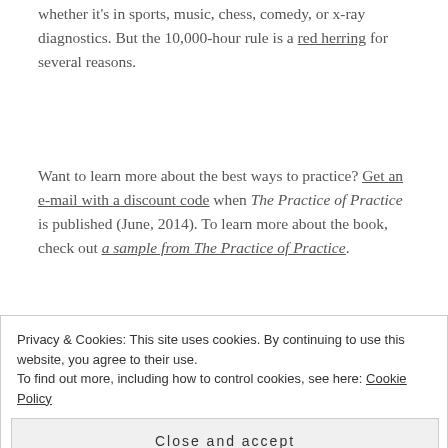whether it's in sports, music, chess, comedy, or x-ray diagnostics. But the 10,000-hour rule is a red herring for several reasons.
Want to learn more about the best ways to practice? Get an e-mail with a discount code when The Practice of Practice is published (June, 2014). To learn more about the book, check out a sample from The Practice of Practice.
Privacy & Cookies: This site uses cookies. By continuing to use this website, you agree to their use. To find out more, including how to control cookies, see here: Cookie Policy
Close and accept
Quality of practice matters. Playing one note for